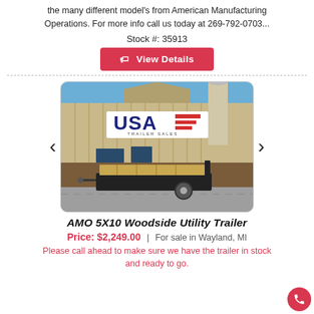the many different model's from American Manufacturing Operations. For more info call us today at 269-792-0703...
Stock #: 35913
View Details
[Figure (photo): Photo of a small utility trailer with wooden sides parked in front of a USA Trailer Sales building with a blue sky background.]
AMO 5X10 Woodside Utility Trailer
Price: $2,249.00 | For sale in Wayland, MI
Please call ahead to make sure we have the trailer in stock and ready to go.